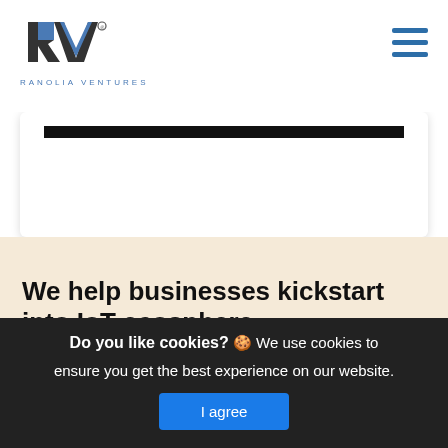Ranolia Ventures
[Figure (logo): Ranolia Ventures logo with RV letters and tagline text]
[Figure (screenshot): Card area with black top bar on white background]
We help businesses kickstart into IoT ecosphere
With the rapidly changing world of the internet and the internet of things, we help
Do you like cookies? 🍪 We use cookies to ensure you get the best experience on our website. I agree